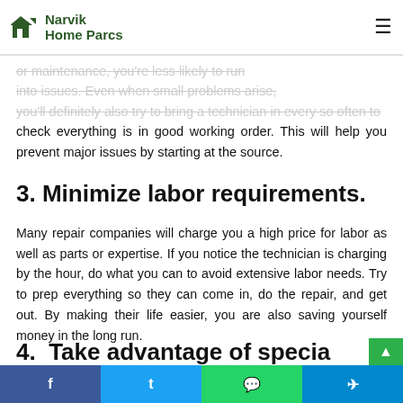Narvik Home Parcs
or maintenance, you're less likely to run into issues. Even when small problems arise, you'll definitely also try to bring a technician in every so often to check everything is in good working order. This will help you prevent major issues by starting at the source.
3. Minimize labor requirements.
Many repair companies will charge you a high price for labor as well as parts or expertise. If you notice the technician is charging by the hour, do what you can to avoid extensive labor needs. Try to prep everything so they can come in, do the repair, and get out. By making their life easier, you are also saving yourself money in the long run.
4. Take advantage of specia…
f  t  WhatsApp  Telegram